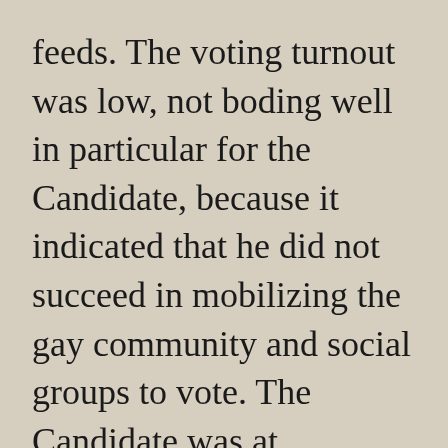feeds. The voting turnout was low, not boding well in particular for the Candidate, because it indicated that he did not succeed in mobilizing the gay community and social groups to vote. The Candidate was at Simmonscourt Dublin count center, posting tweets of the boxes opening, thanking everyone for their support. At 11.25 am, I noticed